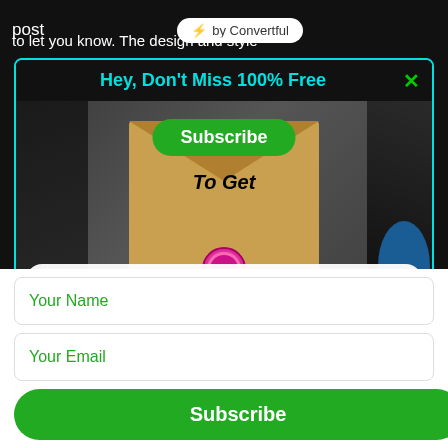post  ⚡ by Convertful  to let you know. The design and style
Hey, Don't Miss 100% Free
[Figure (illustration): Fitness tracking newsletter subscription popup with envelope graphic, Subscribe button, To Get text, and title 'Smart-Effective Tips Of Fitness Tracking' on white card over dark fitness background]
Your Name
Your Email
Subscribe